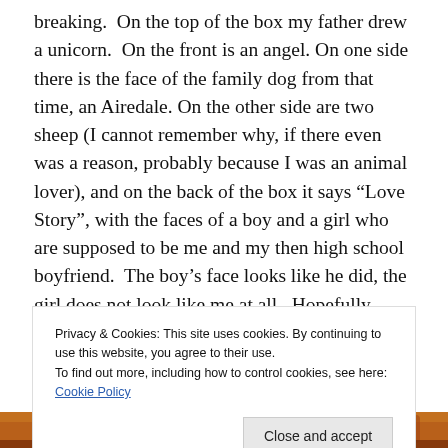breaking.  On the top of the box my father drew a unicorn.  On the front is an angel. On one side there is the face of the family dog from that time, an Airedale. On the other side are two sheep (I cannot remember why, if there even was a reason, probably because I was an animal lover), and on the back of the box it says “Love Story”, with the faces of a boy and a girl who are supposed to be me and my then high school boyfriend.  The boy’s face looks like he did, the girl does not look like me at all.  Hopefully – wishfully – I just checked the bottom of the box (again) to see if he had signed or inscribed it, as if I could magically
Privacy & Cookies: This site uses cookies. By continuing to use this website, you agree to their use.
To find out more, including how to control cookies, see here: Cookie Policy
Close and accept
[Figure (photo): Partial view of a decorative box with colorful painted imagery, warm orange-red and brown tones visible at the bottom of the page.]